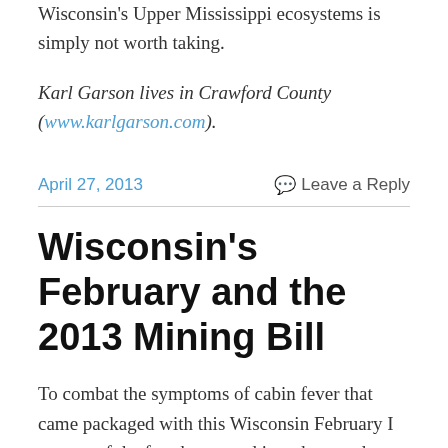Wisconsin's Upper Mississippi ecosystems is simply not worth taking.
Karl Garson lives in Crawford County (www.karlgarson.com).
April 27, 2013
Leave a Reply
Wisconsin's February and the 2013 Mining Bill
To combat the symptoms of cabin fever that came packaged with this Wisconsin February I got out of the farmhouse and into the woods, an activity dating back to my childhood...